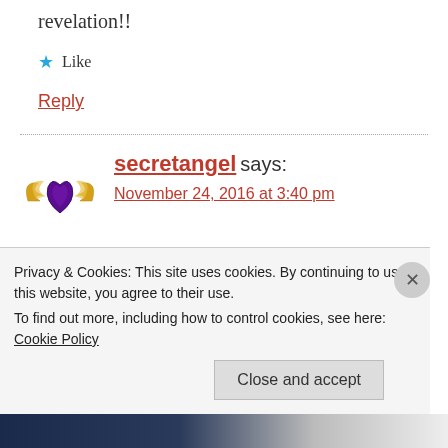revelation!!
★ Like
Reply
secretangelсays: November 24, 2016 at 3:40 pm
Reblogged this on The Abuse Expose' with Secret Angel and commented:
Privacy & Cookies: This site uses cookies. By continuing to use this website, you agree to their use.
To find out more, including how to control cookies, see here: Cookie Policy
Close and accept